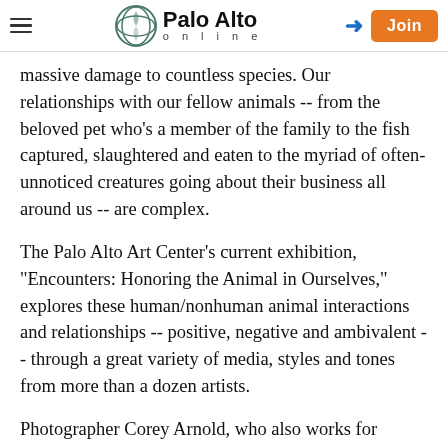Palo Alto online
massive damage to countless species. Our relationships with our fellow animals -- from the beloved pet who's a member of the family to the fish captured, slaughtered and eaten to the myriad of often-unnoticed creatures going about their business all around us -- are complex.
The Palo Alto Art Center's current exhibition, "Encounters: Honoring the Animal in Ourselves," explores these human/nonhuman animal interactions and relationships -- positive, negative and ambivalent -- through a great variety of media, styles and tones from more than a dozen artists.
Photographer Corey Arnold, who also works for months at a time as a commercial fisherman, said at a recent "Art, Ecology and Animals" talk at the Art